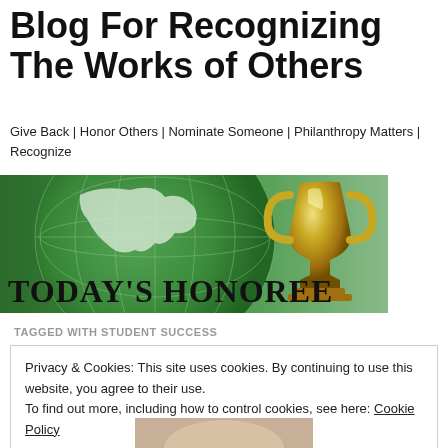Blog For Recognizing The Works of Others
Give Back | Honor Others | Nominate Someone | Philanthropy Matters | Recognize
[Figure (illustration): Banner image showing a globe with a trophy cup and the text TODAY'S HONOREE in serif font]
TAGGED WITH STUDENT SUCCESS
Privacy & Cookies: This site uses cookies. By continuing to use this website, you agree to their use.
To find out more, including how to control cookies, see here: Cookie Policy
[Figure (photo): Partial photo of a person (blonde hair visible) at the bottom of the page]